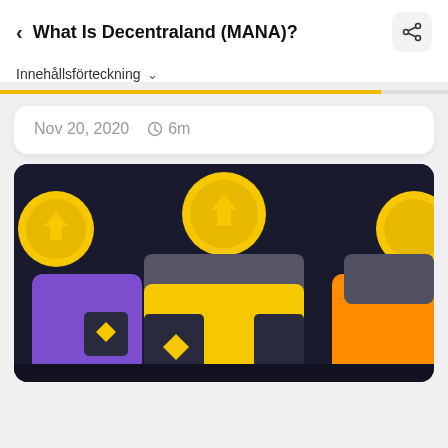What Is Decentraland (MANA)?
Innehållsförteckning
Nov 20, 2020  6m
[Figure (illustration): Decorative crypto/wallet illustration with purple, yellow, and orange wallet icons on a dark background, with gold coins above them.]